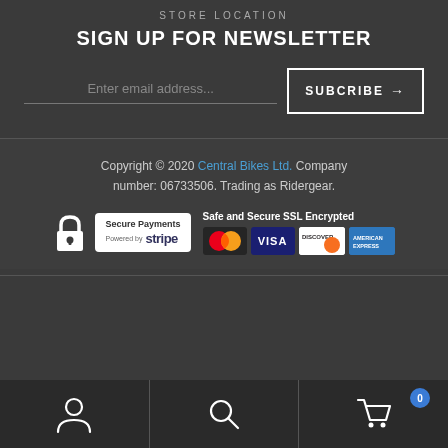STORE LOCATION
SIGN UP FOR NEWSLETTER
Enter email address...
SUBCRIBE →
Copyright © 2020 Central Bikes Ltd. Company number: 06733506. Trading as Ridergear.
[Figure (infographic): Secure Payments powered by Stripe badge with lock icon, and Safe and Secure SSL Encrypted with MasterCard, VISA, DISCOVER, American Express card logos]
[Figure (infographic): Footer navigation bar with person/account icon, search icon, and cart icon with badge showing 0]